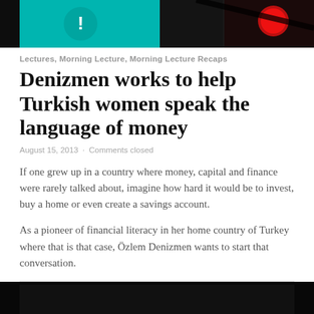[Figure (photo): Top cropped image showing a teal/cyan background with a white warning icon on the left and a red traffic light on the right, mostly dark edges.]
Lectures, Morning Lecture, Morning Lecture Recaps
Denizmen works to help Turkish women speak the language of money
August 15, 2013 · Comments closed
If one grew up in a country where money, capital and finance were rarely talked about, imagine how hard it would be to invest, buy a home or even create a savings account.
As a pioneer of financial literacy in her home country of Turkey where that is that case, Özlem Denizmen wants to start that conversation.
[Figure (photo): Bottom dark image, mostly black background, appears to be a video still or photo at the bottom of the page.]